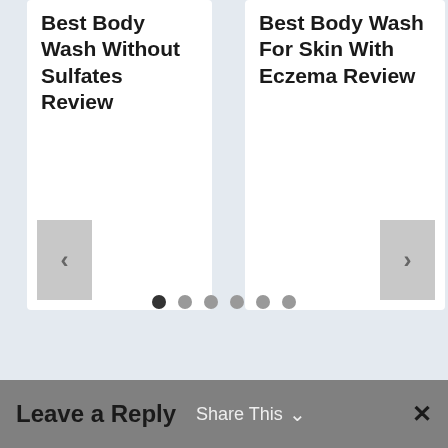Best Body Wash Without Sulfates Review
Best Body Wash For Skin With Eczema Review
[Figure (screenshot): Carousel navigation dots — 6 dots with first dot darker (active) and remaining 5 lighter (inactive)]
Leave a Reply
Share This
✕